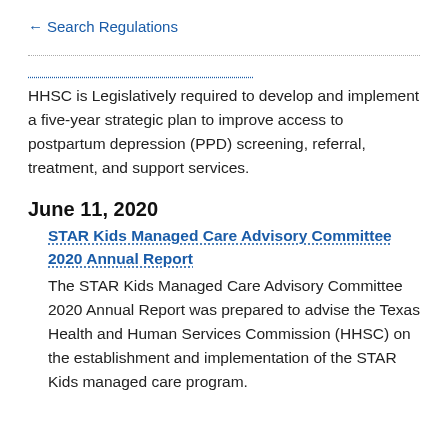← Search Regulations
HHSC is Legislatively required to develop and implement a five-year strategic plan to improve access to postpartum depression (PPD) screening, referral, treatment, and support services.
June 11, 2020
STAR Kids Managed Care Advisory Committee 2020 Annual Report
The STAR Kids Managed Care Advisory Committee 2020 Annual Report was prepared to advise the Texas Health and Human Services Commission (HHSC) on the establishment and implementation of the STAR Kids managed care program.